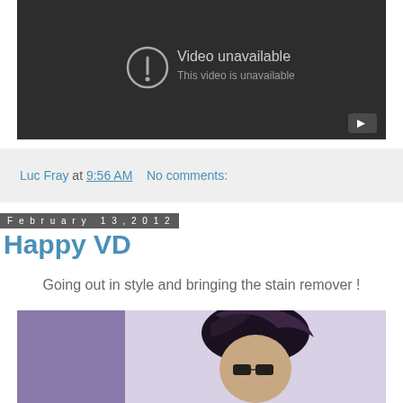[Figure (screenshot): YouTube video embed showing 'Video unavailable - This video is unavailable' error message on dark background with YouTube play button icon in bottom right corner]
Luc Fray at 9:56 AM   No comments:
February 13, 2012
Happy VD
Going out in style and bringing the stain remover !
[Figure (photo): Photo of a person with dark hair, partially visible, background shows purple/lavender wall]